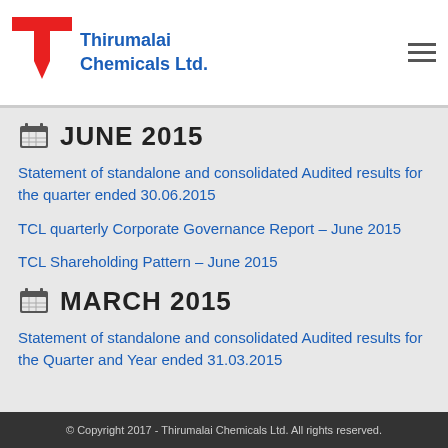Thirumalai Chemicals Ltd.
JUNE 2015
Statement of standalone and consolidated Audited results for the quarter ended 30.06.2015
TCL quarterly Corporate Governance Report – June 2015
TCL Shareholding Pattern – June 2015
MARCH 2015
Statement of standalone and consolidated Audited results for the Quarter and Year ended 31.03.2015
© Copyright 2017 - Thirumalai Chemicals Ltd. All rights reserved.